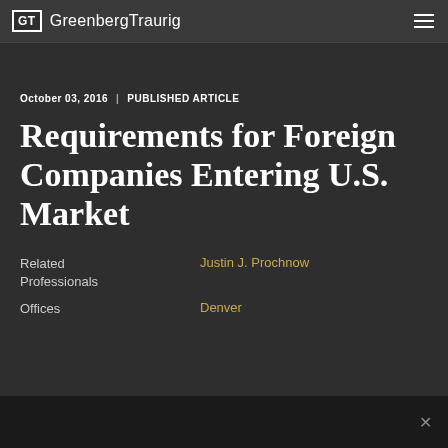GT GreenbergTraurig
October 03, 2016 | PUBLISHED ARTICLE
Requirements for Foreign Companies Entering U.S. Market
Related Professionals  Justin J. Prochnow
Offices  Denver